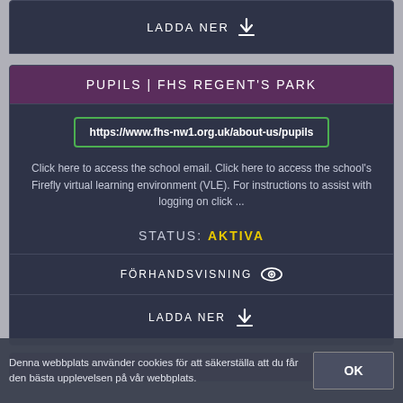LADDA NER
PUPILS | FHS REGENT'S PARK
https://www.fhs-nw1.org.uk/about-us/pupils
Click here to access the school email. Click here to access the school's Firefly virtual learning environment (VLE). For instructions to assist with logging on click ...
STATUS: AKTIVA
FÖRHANDSVISNING
LADDA NER
Denna webbplats använder cookies för att säkerställa att du får den bästa upplevelsen på vår webbplats.
OK